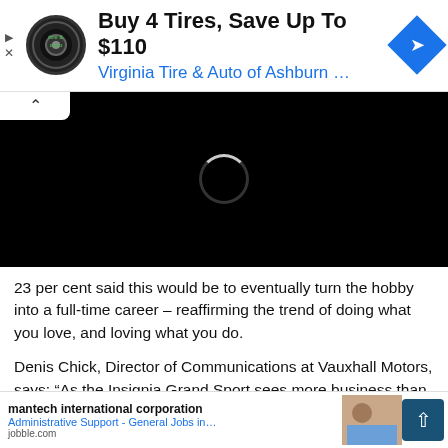[Figure (screenshot): Advertisement banner for Virginia Tire & Auto of Ashburn with logo, headline 'Buy 4 Tires, Save Up To $110', and a blue diamond navigation icon]
[Figure (screenshot): Black video player area with a loading spinner and a white tab with chevron up icon]
23 per cent said this would be to eventually turn the hobby into a full-time career – reaffirming the trend of doing what you love, and loving what you do.
Denis Chick, Director of Communications at Vauxhall Motors, says: “As the Insignia Grand Sport sees more business than most cars in the country, we felt, together with Management Today, well positioned to take a closer look at the UK’s changing work landscape. Aiming to uncover the key trends and opportunities for older p[...]at really d[...]age
[Figure (screenshot): Bottom advertisement bar showing mantech international corporation, Administrative Support - General Jobs listing from jobble.com, with a partial image of people and a scroll-up button]